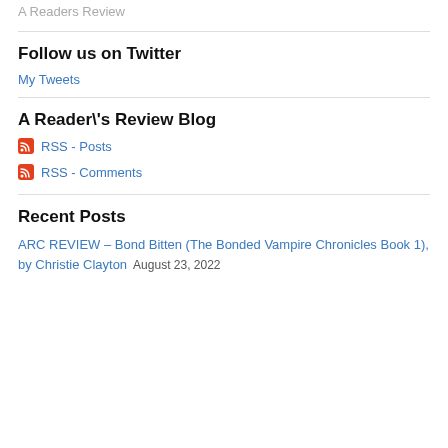A Readers Review
Follow us on Twitter
My Tweets
A Reader\'s Review Blog
RSS - Posts
RSS - Comments
Recent Posts
ARC REVIEW – Bond Bitten (The Bonded Vampire Chronicles Book 1), by Christie Clayton  August 23, 2022